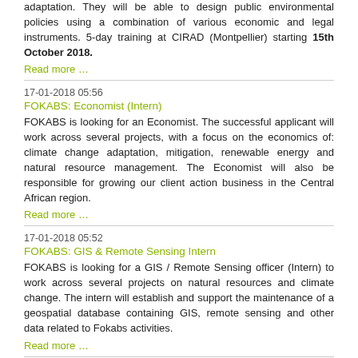adaptation. They will be able to design public environmental policies using a combination of various economic and legal instruments. 5-day training at CIRAD (Montpellier) starting 15th October 2018.
Read more …
17-01-2018 05:56
FOKABS: Economist (Intern)
FOKABS is looking for an Economist. The successful applicant will work across several projects, with a focus on the economics of: climate change adaptation, mitigation, renewable energy and natural resource management. The Economist will also be responsible for growing our client action business in the Central African region.
Read more …
17-01-2018 05:52
FOKABS: GIS & Remote Sensing Intern
FOKABS is looking for a GIS / Remote Sensing officer (Intern) to work across several projects on natural resources and climate change. The intern will establish and support the maintenance of a geospatial database containing GIS, remote sensing and other data related to Fokabs activities.
Read more …
17-01-2018 05:37
FOKABS: Software Developer Intern (Full stack)
FOKABS is looking for a full stack software developer intern who is a self-starter, can work independently, and is highly motivated to contribute in helping us build the next generation of carbon credits trading platform.
Read more …
17-01-2018 05:28